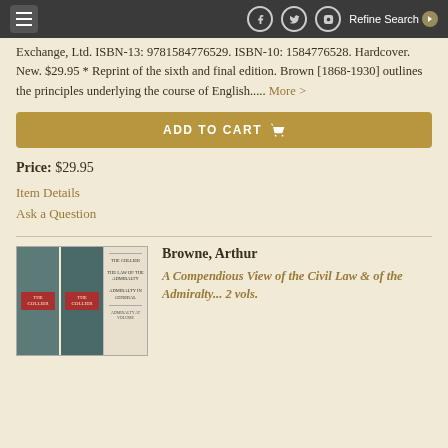Refine Search
Exchange, Ltd. ISBN-13: 9781584776529. ISBN-10: 1584776528. Hardcover. New. $29.95 * Reprint of the sixth and final edition. Brown [1868-1930] outlines the principles underlying the course of English..... More >
ADD TO CART
Price: $29.95
Item Details
Ask a Question
[Figure (photo): Two blue hardcover book volumes with red labels on spines, next to a book open showing title page]
Browne, Arthur
A Compendious View of the Civil Law & of the Admiralty... 2 vols.